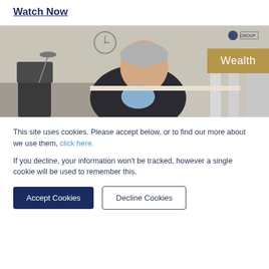Watch Now
[Figure (photo): Screenshot of a wealth management website showing a video thumbnail. A middle-aged man with grey hair wearing a dark suit and light blue shirt sits in an office setting. A gold 'Wealth' badge appears in the upper right corner of the video frame.]
This site uses cookies. Please accept below, or to find our more about we use them, click here.
If you decline, your information won't be tracked, however a single cookie will be used to remember this.
Accept Cookies
Decline Cookies